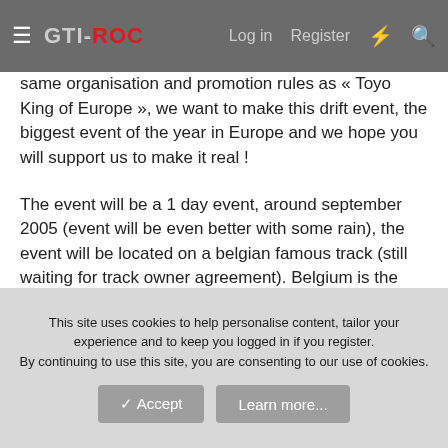GTI-ROC | Log in | Register
same organisation and promotion rules as « Toyo King of Europe », we want to make this drift event, the biggest event of the year in Europe and we hope you will support us to make it real !
The event will be a 1 day event, around september 2005 (event will be even better with some rain), the event will be located on a belgian famous track (still waiting for track owner agreement). Belgium is the center of Europe and will be the ideal place to get all the best european drifters to come there.
So, all the best european drifters but also we will try to catch some crazy japanese drifters from D1 GP to come over to get some exclusive stuff for « King of Europe Drift Edition ».
This site uses cookies to help personalise content, tailor your experience and to keep you logged in if you register. By continuing to use this site, you are consenting to our use of cookies.